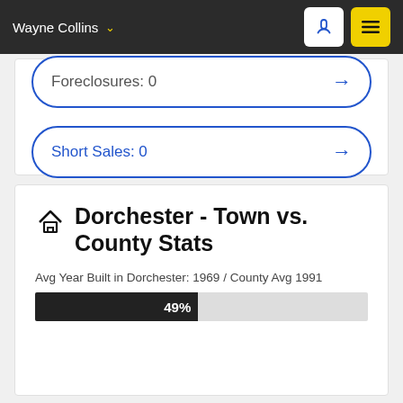Wayne Collins
Foreclosures: 0
Short Sales: 0
Dorchester - Town vs. County Stats
Avg Year Built in Dorchester: 1969 / County Avg 1991
[Figure (bar-chart): Avg Year Built comparison]